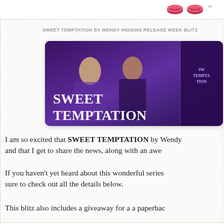[Figure (illustration): Pink lip/kiss icons in top bar area]
SWEET TEMPTATION by Wendy Higgins Release Week Blitz
[Figure (photo): Release Week Blitz banner for Sweet Temptation by Wendy Higgins, September 8th-11th, showing a blonde woman and dark-haired man against a purple background with the book title 'SWEET TEMPTATION' in large white letters, and the book cover on the right side.]
I am so excited that SWEET TEMPTATION by Wendy and that I get to share the news, along with an awe
If you haven't yet heard about this wonderful series sure to check out all the details below.
This blitz also includes a giveaway for a a paperbac